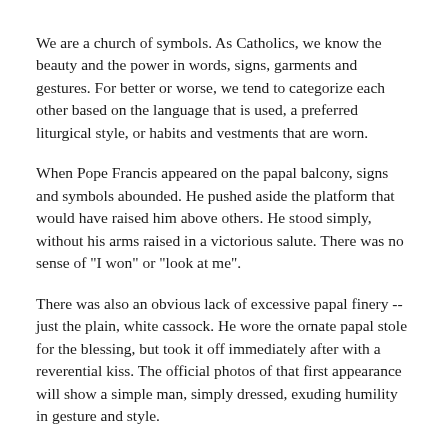We are a church of symbols. As Catholics, we know the beauty and the power in words, signs, garments and gestures. For better or worse, we tend to categorize each other based on the language that is used, a preferred liturgical style, or habits and vestments that are worn.
When Pope Francis appeared on the papal balcony, signs and symbols abounded. He pushed aside the platform that would have raised him above others. He stood simply, without his arms raised in a victorious salute. There was no sense of "I won" or "look at me".
There was also an obvious lack of excessive papal finery -- just the plain, white cassock. He wore the ornate papal stole for the blessing, but took it off immediately after with a reverential kiss. The official photos of that first appearance will show a simple man, simply dressed, exuding humility in gesture and style.
The magic moment, of course, was when he asked for the blessing of the people before giving his own, papal blessing. I watched in awe. Was this really happening? Did he have this planned? What a brilliant gesture! Apparently, it is second nature to him. In this simple action, our new pope acknowledged that all God's people are called to raise their